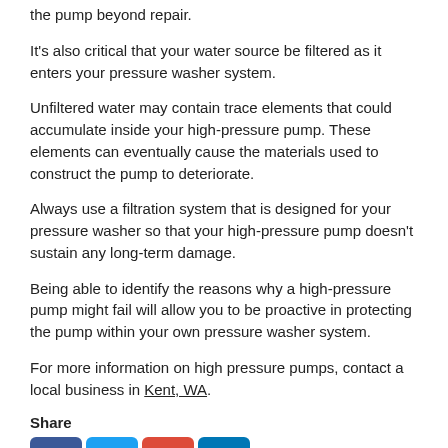the pump beyond repair.
It's also critical that your water source be filtered as it enters your pressure washer system.
Unfiltered water may contain trace elements that could accumulate inside your high-pressure pump. These elements can eventually cause the materials used to construct the pump to deteriorate.
Always use a filtration system that is designed for your pressure washer so that your high-pressure pump doesn't sustain any long-term damage.
Being able to identify the reasons why a high-pressure pump might fail will allow you to be proactive in protecting the pump within your own pressure washer system.
For more information on high pressure pumps, contact a local business in Kent, WA.
Share
[Figure (other): Social media share icons: Facebook, Twitter, Google+, LinkedIn]